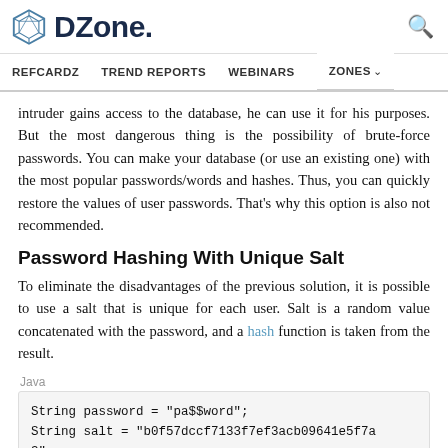DZone. [search icon]
REFCARDZ   TREND REPORTS   WEBINARS   ZONES
intruder gains access to the database, he can use it for his purposes. But the most dangerous thing is the possibility of brute-force passwords. You can make your database (or use an existing one) with the most popular passwords/words and hashes. Thus, you can quickly restore the values of user passwords. That’s why this option is also not recommended.
Password Hashing With Unique Salt
To eliminate the disadvantages of the previous solution, it is possible to use a salt that is unique for each user. Salt is a random value concatenated with the password, and a hash function is taken from the result.
Java
String password = "pa$$word";
String salt = "b0f57dccf7133f7ef3acb09641e5f7a
3";

MessageDigest md = MessageDigest.getInstance("S
HA-256");